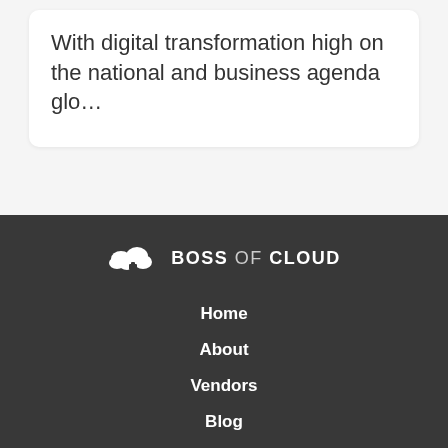With digital transformation high on the national and business agenda glo...
[Figure (logo): Boss of Cloud logo with cloud icon and text BOSS OF CLOUD]
Home
About
Vendors
Blog